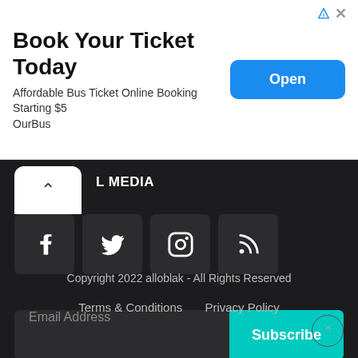[Figure (screenshot): Advertisement banner: Book Your Ticket Today - Affordable Bus Ticket Online Booking Starting $5, OurBus, with Open button]
L MEDIA
[Figure (other): Social media icons: Facebook, Twitter, Instagram, RSS feed]
Email Address
Subscribe
Copyright 2022 alloblak - All Rights Reserved
Terms & Conditions   Privacy Policy